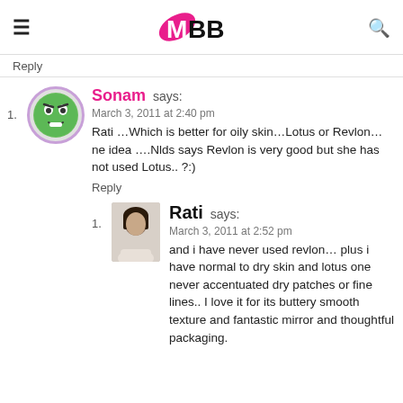IMBB (logo with hamburger menu and search icon)
Reply
1. Sonam says:
March 3, 2011 at 2:40 pm
Rati …Which is better for oily skin…Lotus or Revlon…ne idea ….Nlds says Revlon is very good but she has not used Lotus.. ?:)
Reply
1. Rati says:
March 3, 2011 at 2:52 pm
and i have never used revlon… plus i have normal to dry skin and lotus one never accentuated dry patches or fine lines.. I love it for its buttery smooth texture and fantastic mirror and thoughtful packaging.